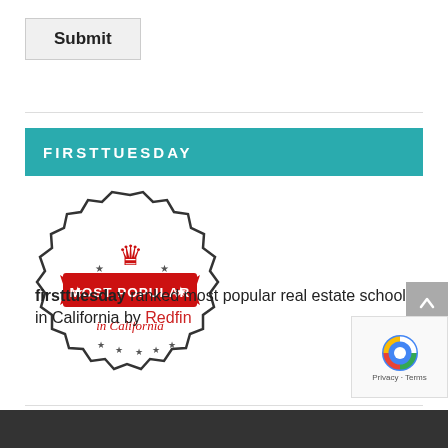Submit
[Figure (logo): Badge reading MOST POPULAR in California with crown and stars]
firsttuesday ranked most popular real estate school in California by Redfin